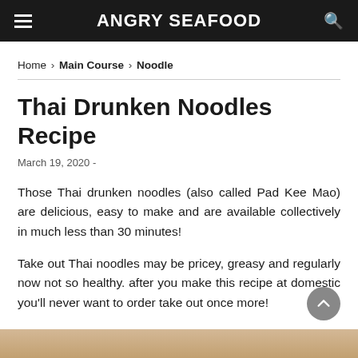ANGRY SEAFOOD
Home › Main Course › Noodle
Thai Drunken Noodles Recipe
March 19, 2020  -
Those Thai drunken noodles (also called Pad Kee Mao) are delicious, easy to make and are available collectively in much less than 30 minutes!
Take out Thai noodles may be pricey, greasy and regularly now not so healthy. after you make this recipe at domestic you'll never want to order take out once more!
[Figure (photo): Bottom strip showing food photo (noodles dish)]